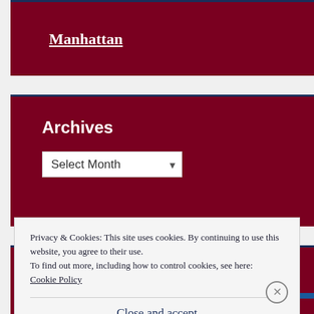Manhattan
Archives
Select Month
Privacy & Cookies: This site uses cookies. By continuing to use this website, you agree to their use.
To find out more, including how to control cookies, see here: Cookie Policy
Close and accept